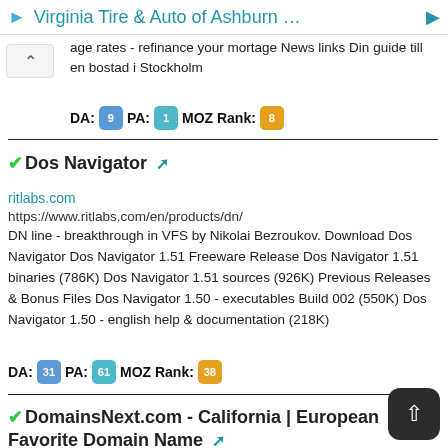Virginia Tire & Auto of Ashburn …
age rates - refinance your mortage News links Din guide till en bostad i Stockholm
DA: 9  PA: 1  MOZ Rank: 8
Dos Navigator
ritlabs.com
https://www.ritlabs.com/en/products/dn/
DN line - breakthrough in VFS by Nikolai Bezroukov. Download Dos Navigator Dos Navigator 1.51 Freeware Release Dos Navigator 1.51 binaries (786K) Dos Navigator 1.51 sources (926K) Previous Releases & Bonus Files Dos Navigator 1.50 - executables Build 002 (550K) Dos Navigator 1.50 - english help & documentation (218K)
DA: 31  PA: 61  MOZ Rank: 38
DomainsNext.com - California | European Favorite Domain Name
domainsnext.com